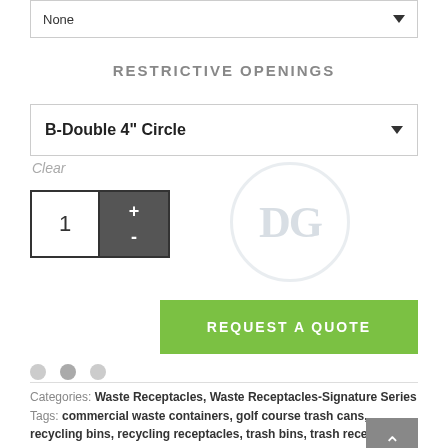None
RESTRICTIVE OPENINGS
B-Double 4" Circle
Clear
1
[Figure (logo): DG watermark logo circle]
REQUEST A QUOTE
Categories: Waste Receptacles, Waste Receptacles-Signature Series
Tags: commercial waste containers, golf course trash cans, recycling bins, recycling receptacles, trash bins, trash receptacles, waste and recycling receptacles, waste bins, waste receptacles